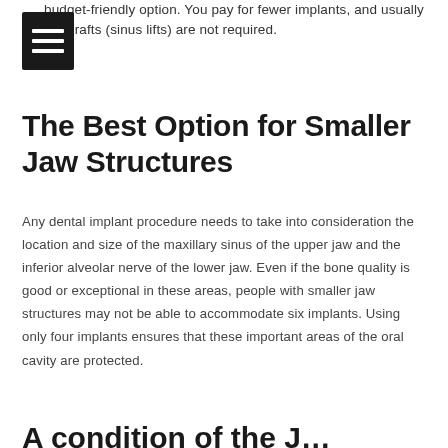budget-friendly option. You pay for fewer implants, and usually the grafts (sinus lifts) are not required.
[Figure (other): Hamburger menu icon — three white horizontal lines on a black square background]
The Best Option for Smaller Jaw Structures
Any dental implant procedure needs to take into consideration the location and size of the maxillary sinus of the upper jaw and the inferior alveolar nerve of the lower jaw. Even if the bone quality is good or exceptional in these areas, people with smaller jaw structures may not be able to accommodate six implants. Using only four implants ensures that these important areas of the oral cavity are protected.
A condition of the J...